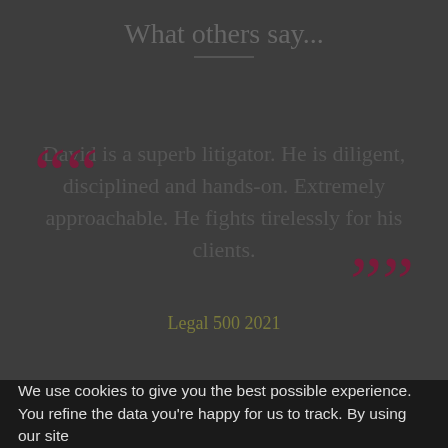What others say...
David is a superb litigator. He is diligent, disciplined and hands-on. Extremely approachable. He fights tirelessly for his clients.
Legal 500 2021
We use cookies to give you the best possible experience. You refine the data you're happy for us to track. By using our site